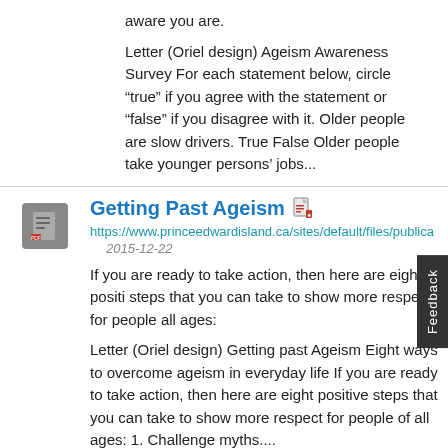aware you are.
Letter (Oriel design) Ageism Awareness Survey For each statement below, circle “true” if you agree with the statement or “false” if you disagree with it. Older people are slow drivers. True False Older people take younger persons’ jobs...
Getting Past Ageism
https://www.princeedwardisland.ca/sites/default/files/publica
2015-12-22
If you are ready to take action, then here are eight positi steps that you can take to show more respect for people all ages:
Letter (Oriel design) Getting past Ageism Eight ways to overcome ageism in everyday life If you are ready to take action, then here are eight positive steps that you can take to show more respect for people of all ages: 1. Challenge myths....